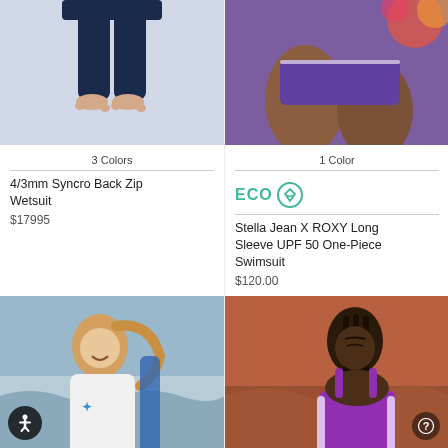[Figure (photo): Woman wearing dark navy 4/3mm wetsuit, lower body visible, standing on white background]
3 Colors
4/3mm Syncro Back Zip Wetsuit
$17995
[Figure (photo): Woman in purple swimsuit with floral background, legs visible, sitting pose]
1 Color
[Figure (logo): ECO badge with teal text and Roxy diamond heart logo icon]
Stella Jean X ROXY Long Sleeve UPF 50 One-Piece Swimsuit
$120.00
[Figure (photo): Smiling woman at beach in white top holding surfboard]
[Figure (photo): Young woman in purple swimsuit against red rock background]